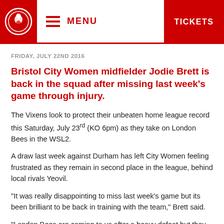MENU | TICKETS
FRIDAY, JULY 22ND 2016
Bristol City Women midfielder Jodie Brett is back in the squad after missing last week's game through injury.
The Vixens look to protect their unbeaten home league record this Saturday, July 23rd (KO 6pm) as they take on London Bees in the WSL2.
A draw last week against Durham has left City Women feeling frustrated as they remain in second place in the league, behind local rivals Yeovil.
“It was really disappointing to miss last week’s game but its been brilliant to be back in training with the team,” Brett said.
“London Bees are coming to us after a heavy defeat but they had a great result against Chelsea in the cup so they will have